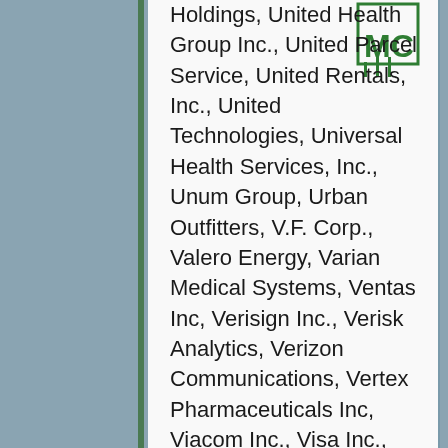Holdings, United Health Group Inc., United Parcel Service, United Rentals, Inc., United Technologies, Universal Health Services, Inc., Unum Group, Urban Outfitters, V.F. Corp., Valero Energy, Varian Medical Systems, Ventas Inc, Verisign Inc., Verisk Analytics, Verizon Communications, Vertex Pharmaceuticals Inc, Viacom Inc., Visa Inc., Vornado Realty